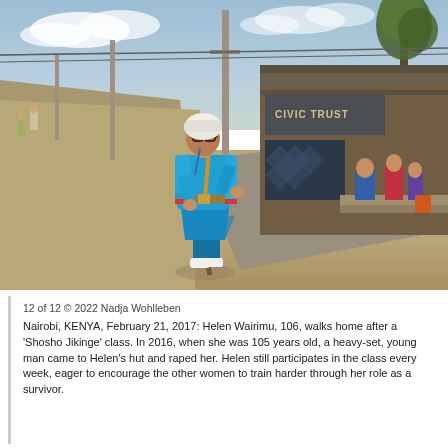[Figure (photo): An elderly woman wearing a bright turquoise/teal dress and cardigan, white head covering, and white sneakers, walking along a dirt road in what appears to be a Kenyan slum or informal settlement (Nairobi). She holds a wooden walking stick and appears to be striding confidently. In the background, corrugated metal shacks are visible on the right side, people are seated in the shade, a utility pole stands in the center, and the road extends into the distance on the left. The sky is partly cloudy.]
12 of 12 © 2022 Nadja Wohlleben

Nairobi, KENYA, February 21, 2017: Helen Wairimu, 106, walks home after a 'Shosho Jikinge' class. In 2016, when she was 105 years old, a heavy-set, young man came to Helen's hut and raped her. Helen still participates in the class every week, eager to encourage the other women to train harder through her role as a survivor.